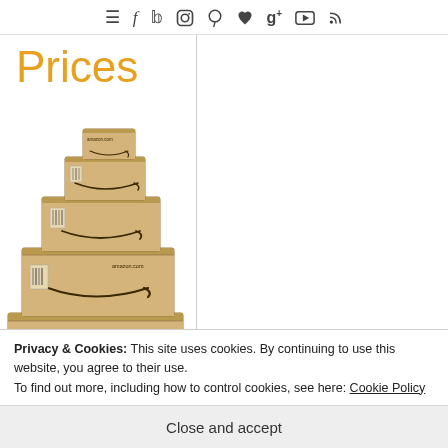≡  f  𝕥  📷  𝒑  ♥  g+  ▶  ᛒ
Prices
[Figure (photo): Stack of Amazon cardboard boxes of various sizes, piled in a pyramid arrangement, with Amazon smile logo visible on the boxes.]
Privacy & Cookies: This site uses cookies. By continuing to use this website, you agree to their use.
To find out more, including how to control cookies, see here: Cookie Policy
Close and accept